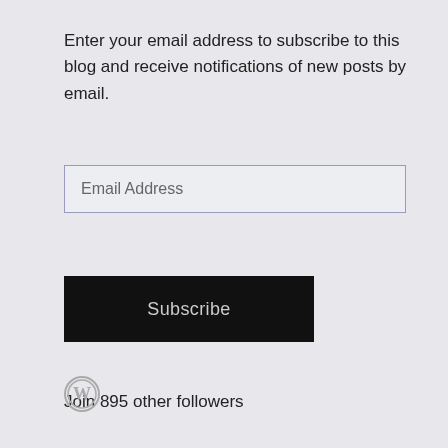Enter your email address to subscribe to this blog and receive notifications of new posts by email.
[Figure (screenshot): Email Address input field with light grey background and blue-grey border]
[Figure (screenshot): Black Subscribe button]
Join 895 other followers
[Figure (screenshot): Search input field with Search... placeholder and black search icon button on the right]
[Figure (logo): WordPress circular logo icon in grey]